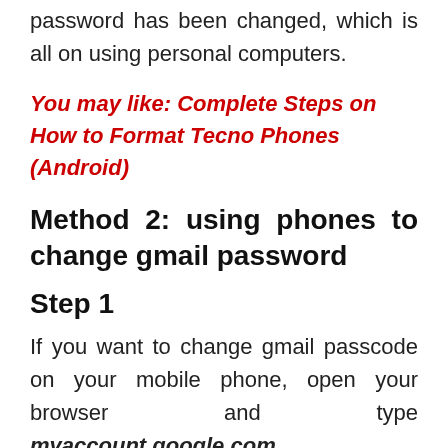receive a confirmation via email that your password has been changed, which is all on using personal computers.
You may like: Complete Steps on How to Format Tecno Phones (Android)
Method 2: using phones to change gmail password
Step 1
If you want to change gmail passcode on your mobile phone, open your browser and type myaccount.google.com